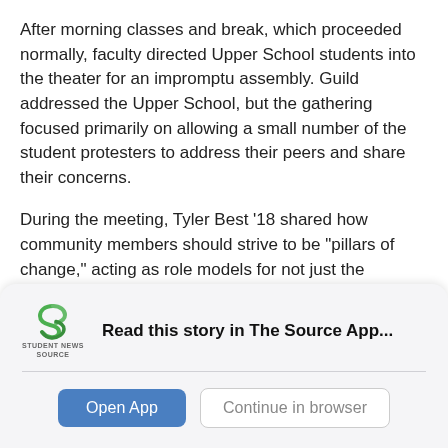After morning classes and break, which proceeded normally, faculty directed Upper School students into the theater for an impromptu assembly. Guild addressed the Upper School, but the gathering focused primarily on allowing a small number of the student protesters to address their peers and share their concerns.
During the meeting, Tyler Best '18 shared how community members should strive to be "pillars of change," acting as role models for not just the community, but also for society.
[Figure (logo): Student News Source logo — green stylized 'S' shape with text 'STUDENT NEWS SOURCE' below]
Read this story in The Source App...
Open App
Continue in browser